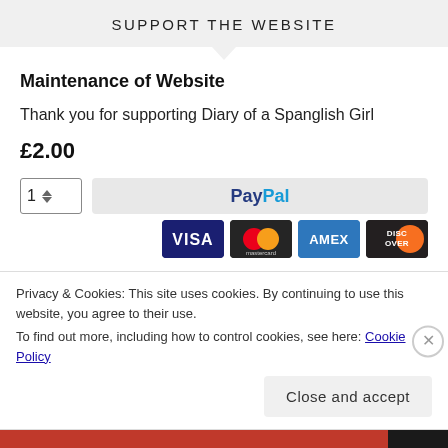SUPPORT THE WEBSITE
Maintenance of Website
Thank you for supporting Diary of a Spanglish Girl
£2.00
[Figure (screenshot): Quantity selector showing '1' with up/down arrows, and a PayPal payment button]
[Figure (screenshot): Row of payment card logos: VISA, Mastercard, AMEX, DISCOVER]
Privacy & Cookies: This site uses cookies. By continuing to use this website, you agree to their use.
To find out more, including how to control cookies, see here: Cookie Policy
Close and accept